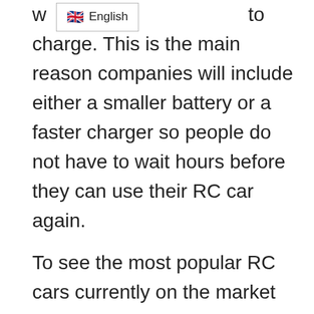[Figure (screenshot): Browser language selector UI showing UK flag and 'English' label in a white box with border]
w to charge. This is the main reason companies will include either a smaller battery or a faster charger so people do not have to wait hours before they can use their RC car again.

To see the most popular RC cars currently on the market just click here.

A good RC car doesn't have to cost a fortune.